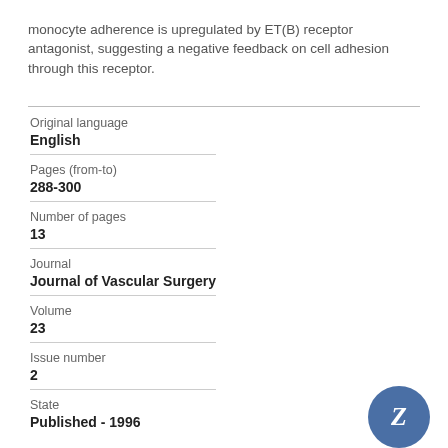monocyte adherence is upregulated by ET(B) receptor antagonist, suggesting a negative feedback on cell adhesion through this receptor.
| Field | Value |
| --- | --- |
| Original language | English |
| Pages (from-to) | 288-300 |
| Number of pages | 13 |
| Journal | Journal of Vascular Surgery |
| Volume | 23 |
| Issue number | 2 |
| State | Published - 1996 |